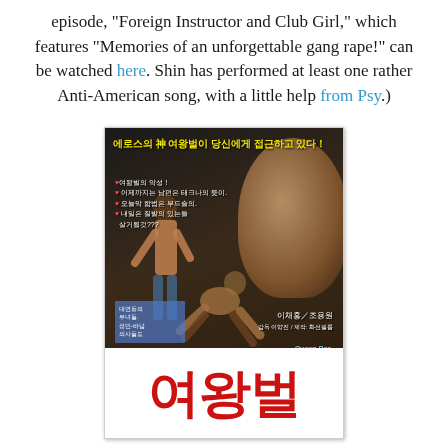episode, "Foreign Instructor and Club Girl," which features "Memories of an unforgettable gang rape!" can be watched here. Shin has performed at least one rather Anti-American song, with a little help from Psy.)
[Figure (photo): Korean movie poster for 'Queen Bee' (여왕벌) featuring Korean text at top in yellow, silhouetted figures, a large face profile on the right, and bold red Korean title characters at the bottom with 'Queen Bee' text.]